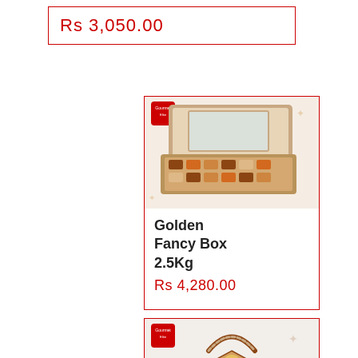Rs 3,050.00
[Figure (photo): Golden Fancy Box 2.5Kg product photo showing an open gold gift box with assorted sweets and dry fruits]
Golden Fancy Box 2.5Kg
Rs 4,280.00
[Figure (photo): Premium Velvet Basket 5Kg product photo showing a decorative striped basket with handle containing sweets]
Premium Velvet Basket 5Kg
Rs 8,060.00